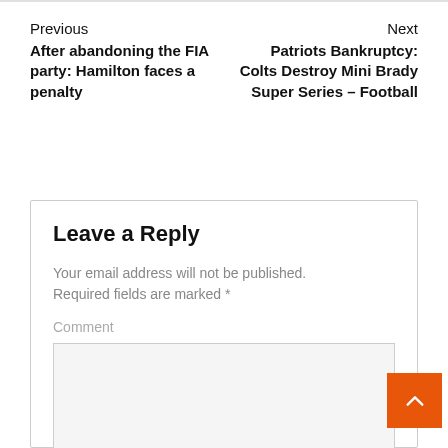Previous
After abandoning the FIA party: Hamilton faces a penalty
Next
Patriots Bankruptcy: Colts Destroy Mini Brady Super Series – Football
Leave a Reply
Your email address will not be published. Required fields are marked *
Comment